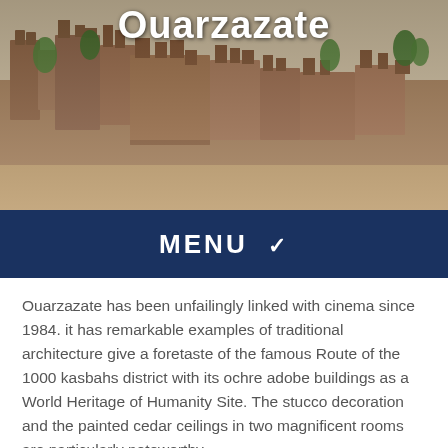[Figure (photo): Aerial view of traditional Moroccan mud-brick kasbah buildings with towers and courtyards, surrounded by palm trees and sandy terrain. The photo appears over the hero section of the Ouarzazate page.]
Ouarzazate
MENU ▾
Ouarzazate has been unfailingly linked with cinema since 1984. it has remarkable examples of traditional architecture give a foretaste of the famous Route of the 1000 kasbahs district with its ochre adobe buildings as a World Heritage of Humanity Site. The stucco decoration and the painted cedar ceilings in two magnificent rooms are particularly noteworthy.